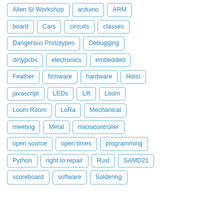Allen St Workshop
arduino
ARM
board
Cars
circuits
classes
Dangerous Prototypes
Debugging
dirtypcbs
electronics
embedded
Feather
firmware
hardware
Hoist
javascript
LEDs
Lift
Loom
Loom Room
LoRa
Mechanical
meeting
Metal
microcontroller
open source
open times
programming
Python
right to repair
Rust
SAMD21
scoreboard
software
Soldering